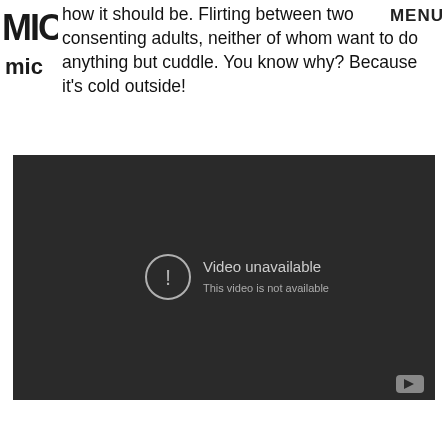MIC (logo) | MENU
how it should be. Flirting between two consenting adults, neither of whom want to do anything but cuddle. You know why? Because it's cold outside!
[Figure (screenshot): Embedded YouTube video player showing 'Video unavailable – This video is not available' error message on a dark background.]